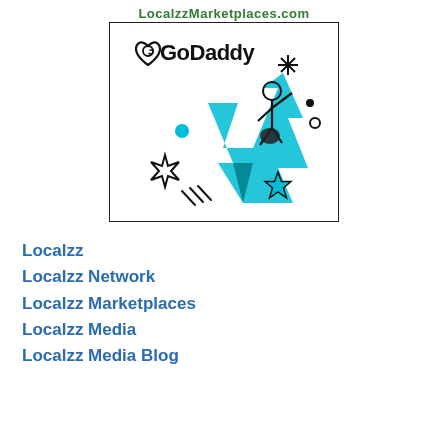LocalzzMarketplaces.com
[Figure (logo): GoDaddy advertisement with logo and illustrated figure of a person riding a teal arrow upward, with stars and decorative elements]
Localzz
Localzz Network
Localzz Marketplaces
Localzz Media
Localzz Media Blog